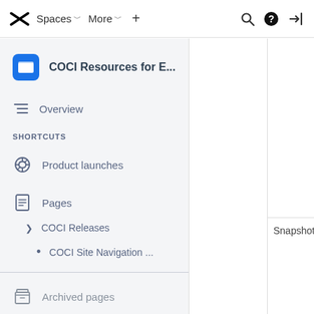Spaces ˅  More ˅  +  🔍  ❓  →|
COCI Resources for E...
Overview
SHORTCUTS
Product launches
Pages
COCI Releases
COCI Site Navigation ...
Archived pages
Snapshot